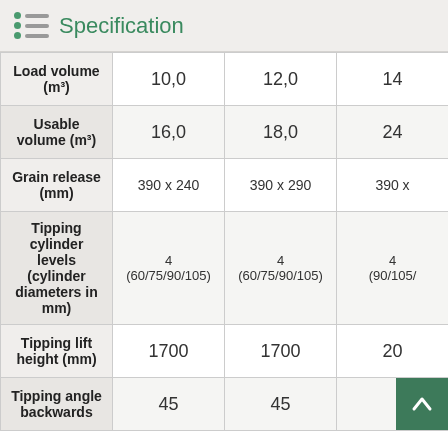Specification
|  | 10,0 | 12,0 | 14... |
| --- | --- | --- | --- |
| Load volume (m³) | 10,0 | 12,0 | 14 |
| Usable volume (m³) | 16,0 | 18,0 | 24 |
| Grain release (mm) | 390 x 240 | 390 x 290 | 390 x... |
| Tipping cylinder levels (cylinder diameters in mm) | 4 (60/75/90/105) | 4 (60/75/90/105) | 4 (90/105/...) |
| Tipping lift height (mm) | 1700 | 1700 | 20... |
| Tipping angle backwards | 45 | 45 |  |